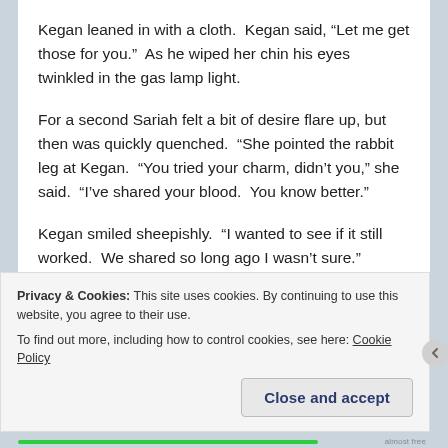Kegan leaned in with a cloth.  Kegan said, “Let me get those for you.”  As he wiped her chin his eyes twinkled in the gas lamp light.
For a second Sariah felt a bit of desire flare up, but then was quickly quenched.  “She pointed the rabbit leg at Kegan.  “You tried your charm, didn’t you,” she said.  “I’ve shared your blood.  You know better.”
Kegan smiled sheepishly.  “I wanted to see if it still worked.  We shared so long ago I wasn’t sure.”
Sariah stabbed the leg into her pile of mashed potatoes.  “You liar.  Fairy blood is a pact.  I ought to…”
Privacy & Cookies: This site uses cookies. By continuing to use this website, you agree to their use.
To find out more, including how to control cookies, see here: Cookie Policy
Close and accept